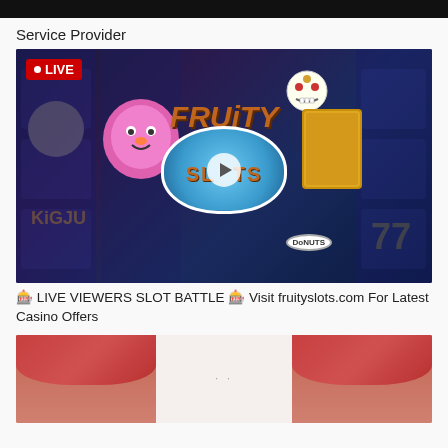[Figure (screenshot): Black bar at top of page, remnant of a video or image above]
Service Provider
[Figure (screenshot): Video thumbnail showing Fruity Slots logo with LIVE badge, slot machine background, pink cartoon character, skeleton character, Donuts badge, and play button overlay]
🎰 LIVE VIEWERS SLOT BATTLE 🎰 Visit fruityslots.com For Latest Casino Offers
[Figure (photo): Bottom portion of image showing a woman wearing a red/pink head wrap, split into left face, middle white section with dots, and right face]